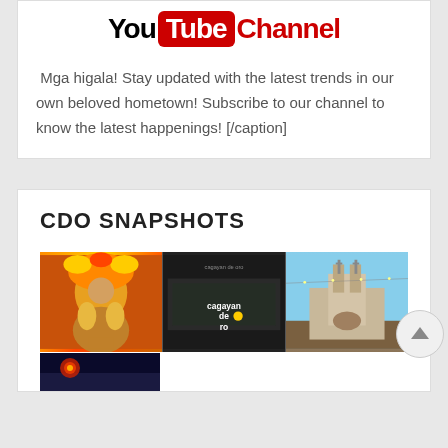[Figure (logo): YouTube Channel logo banner with 'You' in black bold, 'Tube' in white on red rounded rectangle, 'Channel' in red bold text]
Mga higala! Stay updated with the latest trends in our own beloved hometown! Subscribe to our channel to know the latest happenings! [/caption]
CDO SNAPSHOTS
[Figure (photo): Three CDO snapshot photos side by side: left shows a festival dancer in elaborate costume, center shows a Cagayan de Oro city mall building with logo, right shows a historic church building. Below is a partial fourth photo.]